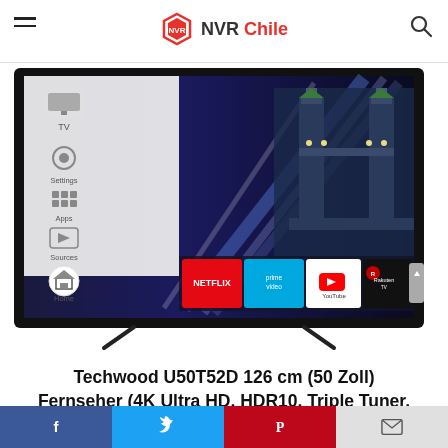NVR Chile
[Figure (photo): Techwood U50T52D smart TV showing home screen with Netflix, Prime Video, YouTube, Rakuten TV, Chili, video.ery, App Store icons and Tower Bridge image on screen]
Techwood U50T52D 126 cm (50 Zoll) Fernseher (4K Ultra HD, HDR10, Triple Tuner,
Social share buttons: Facebook, Twitter, Pinterest, Email